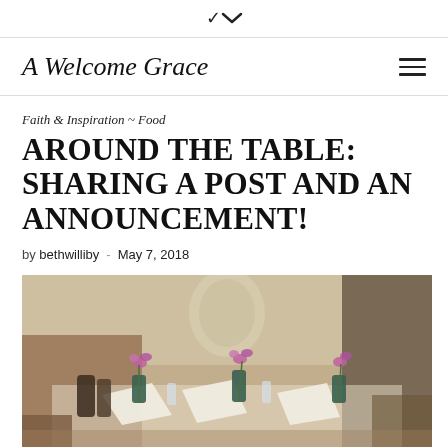▾
A Welcome Grace
Faith & Inspiration ~ Food
AROUND THE TABLE: SHARING A POST AND AN ANNOUNCEMENT!
by bethwilliby  -  May 7, 2018
[Figure (photo): A restaurant table set with folded white napkins, glasses, and small green vases with purple orchid flowers. The background shows booth seating and decorative wall elements in warm tones.]